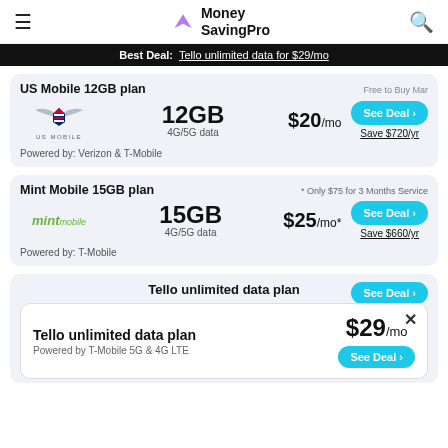Money SavingPro
Best Deal: Tello unlimited data for $29/mo
US Mobile 12GB plan
Free to Buy Mar
12GB 4G/5G data $20/mo See Deal Save $720/yr
Powered by: Verizon & T-Mobile
Mint Mobile 15GB plan
* Only $75 for 3 Months Service
15GB 4G/5G data $25/mo* See Deal Save $660/yr
Powered by: T-Mobile
Tello unlimited data plan
Tello unlimited data plan $29/mo Powered by T-Mobile 5G & 4G LTE See Deal